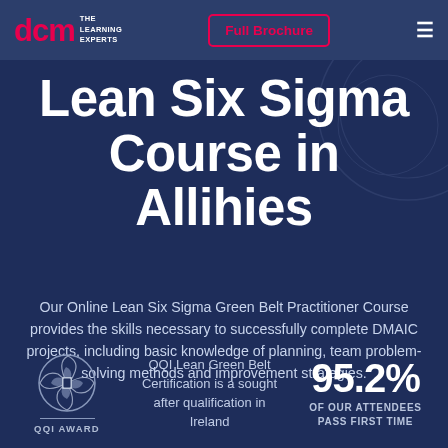[Figure (logo): DCM The Learning Experts logo with red text and hamburger menu, Full Brochure button with red border]
Lean Six Sigma Course in Allihies
Our Online Lean Six Sigma Green Belt Practitioner Course provides the skills necessary to successfully complete DMAIC projects, including basic knowledge of planning, team problem-solving methods and improvement strategies.
[Figure (logo): QQI Award circular logo with swirl pattern]
QQI Lean Green Belt Certification is a sought after qualification in Ireland
95.2% OF OUR ATTENDEES PASS FIRST TIME